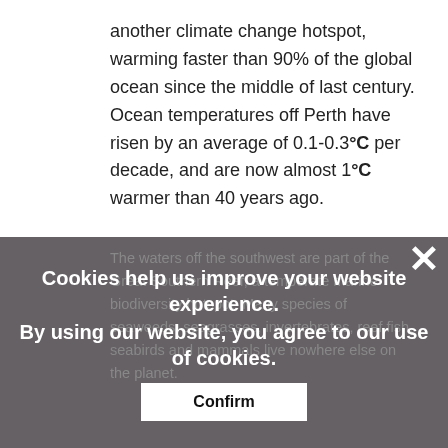another climate change hotspot, warming faster than 90% of the global ocean since the middle of last century. Ocean temperatures off Perth have risen by an average of 0.1-0.3°C per decade, and are now almost 1°C warmer than 40 years ago.
The waters off the southwest are part of the Great Southern Reef, a temperate marine biodiversity hotspot. Many species of seaweeds, seagrasses, invertebrates, reef fish, seabirds and mammals live nowhere else on the planet.
Cookies help us improve your website experience.
By using our website, you agree to our use of cookies.
Confirm